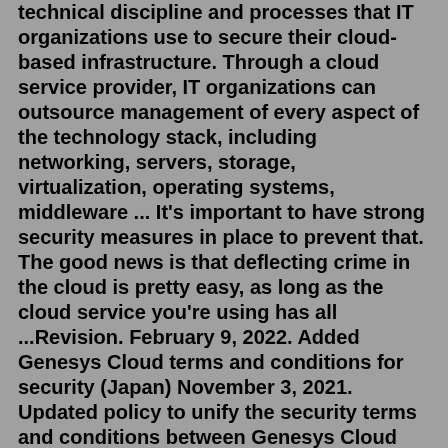technical discipline and processes that IT organizations use to secure their cloud-based infrastructure. Through a cloud service provider, IT organizations can outsource management of every aspect of the technology stack, including networking, servers, storage, virtualization, operating systems, middleware ... It's important to have strong security measures in place to prevent that. The good news is that deflecting crime in the cloud is pretty easy, as long as the cloud service you're using has all ...Revision. February 9, 2022. Added Genesys Cloud terms and conditions for security (Japan) November 3, 2021. Updated policy to unify the security terms and conditions between Genesys Cloud and Engage Cloud/Multicloud. August 30, 2021. Updated policy and moved content into a downloadable PDF file. August 13, 2019.Aug 17, 2022 · Cloud security protects data stored online via cloud computing platforms from theft, leakage, and destruction. Firewalls, penetration testing, obfuscation, tokenization, virtual private networks (VPNs), and